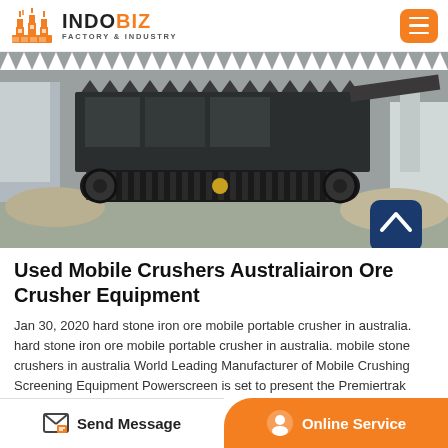INDOBIZ FACTORY & INDUSTRY
[Figure (photo): Mobile crawler crusher machine, large tracked vehicle used in stone crushing, photographed outdoors]
Used Mobile Crushers Australiairon Ore Crusher Equipment
Jan 30, 2020 hard stone iron ore mobile portable crusher in australia. hard stone iron ore mobile portable crusher in australia. mobile stone crushers in australia World Leading Manufacturer of Mobile Crushing Screening Equipment Powerscreen is set to present the Premiertrak 400X mobile ja
Send Message | Online Service